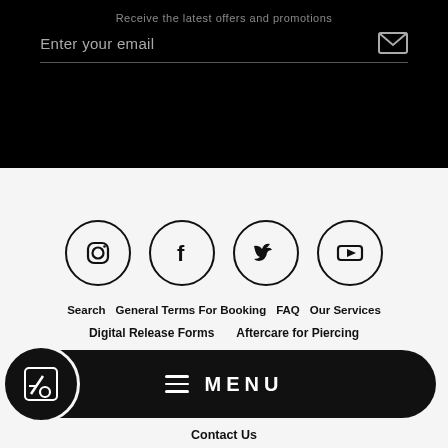Receive the latest offers and promotions
Enter your email
[Figure (infographic): Social media icons in circles: Instagram, Facebook, Twitter, YouTube]
Search
General Terms For Booking
FAQ
Our Services
Digital Release Forms
Aftercare for Piercing
[Figure (logo): Logo icon with scissors/piercing tool in a square, MENU button with hamburger lines]
Contact Us